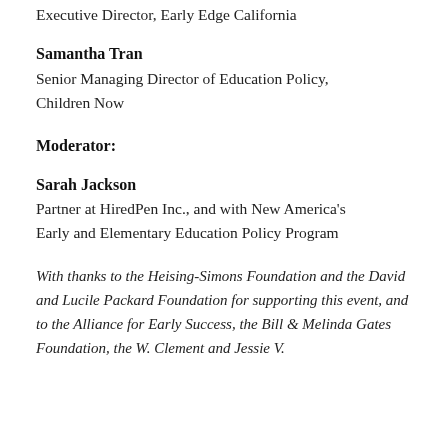Executive Director, Early Edge California
Samantha Tran
Senior Managing Director of Education Policy, Children Now
Moderator:
Sarah Jackson
Partner at HiredPen Inc., and with New America's Early and Elementary Education Policy Program
With thanks to the Heising-Simons Foundation and the David and Lucile Packard Foundation for supporting this event, and to the Alliance for Early Success, the Bill & Melinda Gates Foundation, the W. Clement and Jessie V.